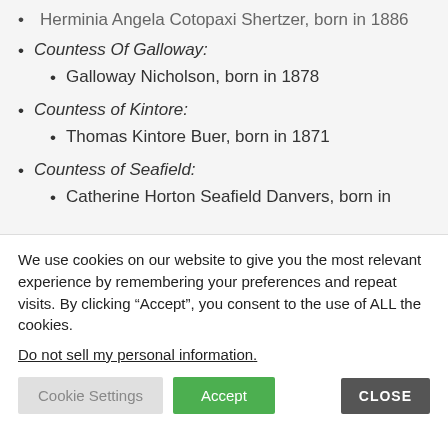Herminia Angela Cotopaxi Shertzer, born in 1886
Countess Of Galloway:
Galloway Nicholson, born in 1878
Countess of Kintore:
Thomas Kintore Buer, born in 1871
Countess of Seafield:
Catherine Horton Seafield Danvers, born in
We use cookies on our website to give you the most relevant experience by remembering your preferences and repeat visits. By clicking “Accept”, you consent to the use of ALL the cookies.
Do not sell my personal information.